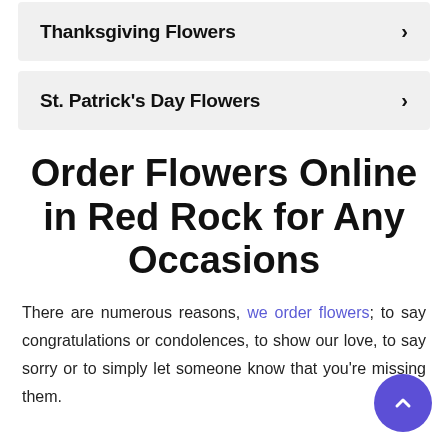Thanksgiving Flowers
St. Patrick's Day Flowers
Order Flowers Online in Red Rock for Any Occasions
There are numerous reasons, we order flowers; to say congratulations or condolences, to show our love, to say sorry or to simply let someone know that you're missing them.
You can buy flowers anywhere in Red Rock, however with...